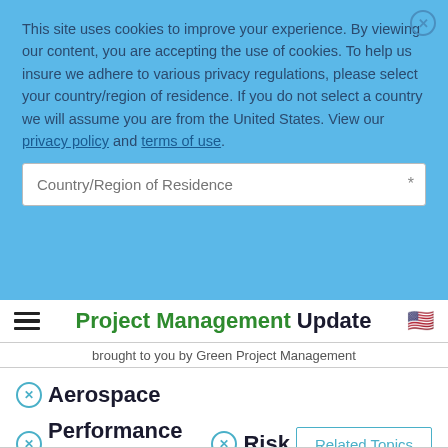This site uses cookies to improve your experience. By viewing our content, you are accepting the use of cookies. To help us insure we adhere to various privacy regulations, please select your country/region of residence. If you do not select a country we will assume you are from the United States. View our privacy policy and terms of use.
Country/Region of Residence
Project Management Update
brought to you by Green Project Management
Aerospace
Performance Measurement
Risk
Related Topics